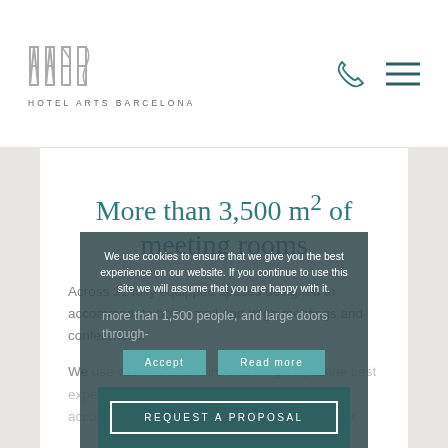HOTEL ARTS BARCELONA
More than 3,500 m² of meeting rooms
Across 21 fully equipped spaces designed to accommodate both small and large meetings and conferences.
We use cookies to ensure that we give you the best experience on our website. If you continue to use this site we will assume that you are happy with it.
more than 1,500 people, and large doors through-